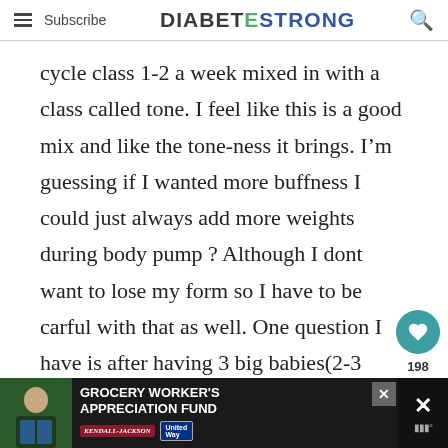Subscribe   DIABETESTRONG   🔍
cycle class 1-2 a week mixed in with a class called tone. I feel like this is a good mix and like the tone-ness it brings. I'm guessing if I wanted more buffness I could just always add more weights during body pump ? Although I dont want to lose my form so I have to be carful with that as well. One question I have is after having 3 big babies(2-3 years in between) each was a C-Section, is there
[Figure (other): Advertisement banner for Grocery Worker's Appreciation Fund featuring Kendall-Jackson and United Way logos, with a person image on the left]